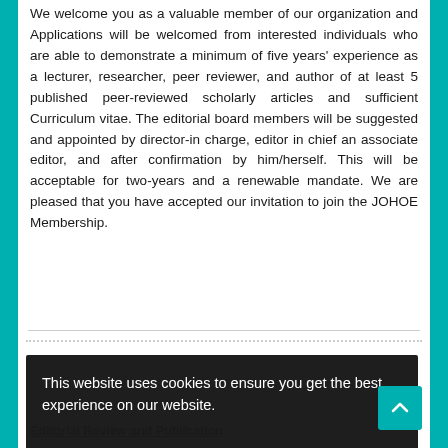We welcome you as a valuable member of our organization and Applications will be welcomed from interested individuals who are able to demonstrate a minimum of five years' experience as a lecturer, researcher, peer reviewer, and author of at least 5 published peer-reviewed scholarly articles and sufficient Curriculum vitae. The editorial board members will be suggested and appointed by director-in charge, editor in chief an associate editor, and after confirmation by him/herself. This will be acceptable for two-years and a renewable mandate. We are pleased that you have accepted our invitation to join the JOHOE Membership.
This website uses cookies to ensure you get the best experience on our website.
Got it!
Editorial Review and Publication